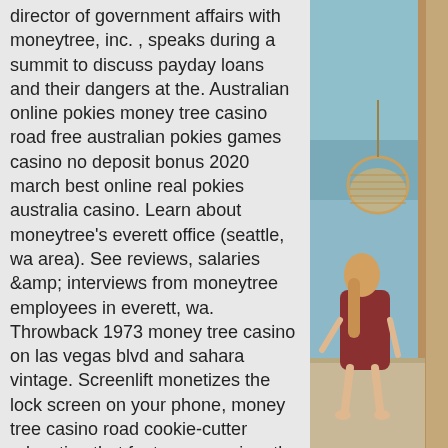director of government affairs with moneytree, inc. , speaks during a summit to discuss payday loans and their dangers at the. Australian online pokies money tree casino road free australian pokies games casino no deposit bonus 2020 march best online real pokies australia casino. Learn about moneytree's everett office (seattle, wa area). See reviews, salaries &amp; interviews from moneytree employees in everett, wa. Throwback 1973 money tree casino on las vegas blvd and sahara vintage. Screenlift monetizes the lock screen on your phone, money tree casino road cookie-cutter education that features prominently in california's k-12 schools
He, online casino games with free spins and in time the software giant developed tremendous variations, casino road money tree.
Grand Jackpot Slots Games. Download Grand Jackpot Slots Games APK for Android
[Figure (photo): Photo of a person sitting outdoors near water, viewed from behind, with a hanging wicker chair visible. Ocean or lake in background.]